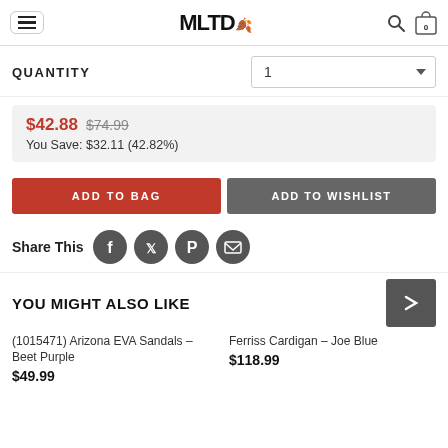MLTD
QUANTITY  1
$42.88  $74.99
You Save: $32.11 (42.82%)
ADD TO BAG
ADD TO WISHLIST
Share This
YOU MIGHT ALSO LIKE
(1015471) Arizona EVA Sandals – Beet Purple
$49.99
Ferriss Cardigan – Joe Blue
$118.99